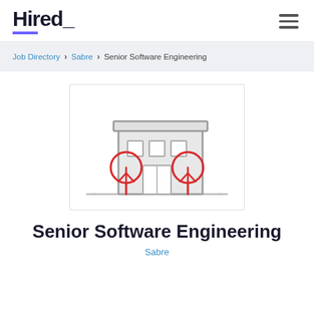Hired_
Job Directory > Sabre > Senior Software Engineering
[Figure (illustration): Illustration of a two-story office building with gray facade, three windows on the upper floor, a double door entrance, and two red circular trees flanking the entrance, on a light gray background with a thin border.]
Senior Software Engineering
Sabre